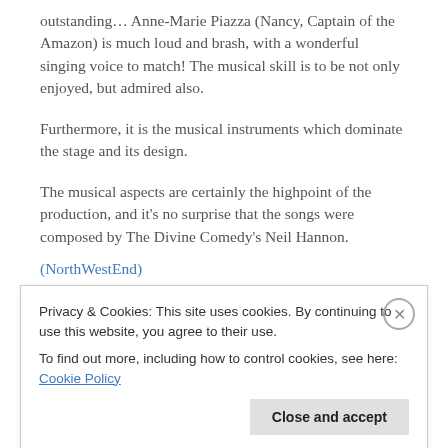The musical expertise of the company is outstanding… Anne-Marie Piazza (Nancy, Captain of the Amazon) is much loud and brash, with a wonderful singing voice to match! The musical skill is to be not only enjoyed, but admired also.
Furthermore, it is the musical instruments which dominate the stage and its design.
The musical aspects are certainly the highpoint of the production, and it's no surprise that the songs were composed by The Divine Comedy's Neil Hannon.
(NorthWestEnd)
Privacy & Cookies: This site uses cookies. By continuing to use this website, you agree to their use.
To find out more, including how to control cookies, see here: Cookie Policy
Close and accept